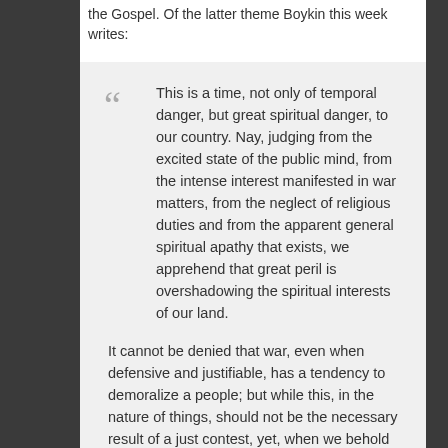the Gospel. Of the latter theme Boykin this week writes:
This is a time, not only of temporal danger, but great spiritual danger, to our country. Nay, judging from the excited state of the public mind, from the intense interest manifested in war matters, from the neglect of religious duties and from the apparent general spiritual apathy that exists, we apprehend that great peril is overshadowing the spiritual interests of our land.

It cannot be denied that war, even when defensive and justifiable, has a tendency to demoralize a people; but while this, in the nature of things, should not be the necessary result of a just contest, yet, when we behold the minds of good men and women